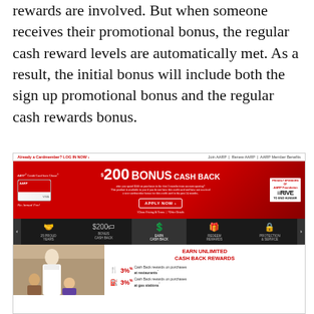rewards are involved. But when someone receives their promotional bonus, the regular cash reward levels are automatically met. As a result, the initial bonus will include both the sign up promotional bonus and the regular cash rewards bonus.
[Figure (screenshot): Screenshot of AARP Credit Card from Chase webpage showing $200 Bonus Cash Back offer, Apply Now button, navigation icons (25 Proud Years, Bonus Cash Back, Earn Cash Back, Redeem Rewards, Protection & Service), and Earn Unlimited Cash Back Rewards section with 3% cash back at restaurants and 3% cash back at gas stations.]